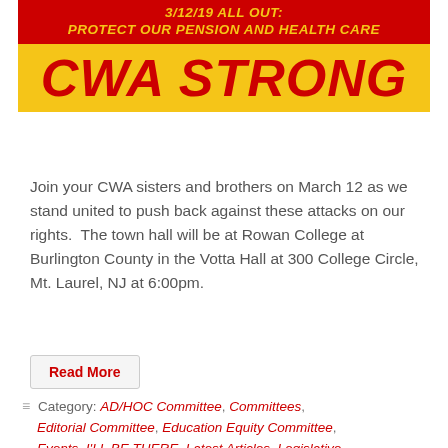[Figure (infographic): CWA union rally banner. Top red section with yellow italic bold text: '3/12/19 ALL OUT: PROTECT OUR PENSION AND HEALTH CARE'. Bottom yellow section with large red italic bold text: 'CWA STRONG']
Join your CWA sisters and brothers on March 12 as we stand united to push back against these attacks on our rights.  The town hall will be at Rowan College at Burlington County in the Votta Hall at 300 College Circle, Mt. Laurel, NJ at 6:00pm.
Read More
Category: AD/HOC Committee, Committees, Editorial Committee, Education Equity Committee, Events, I'LL BE THERE, Latest Articles, Legislative